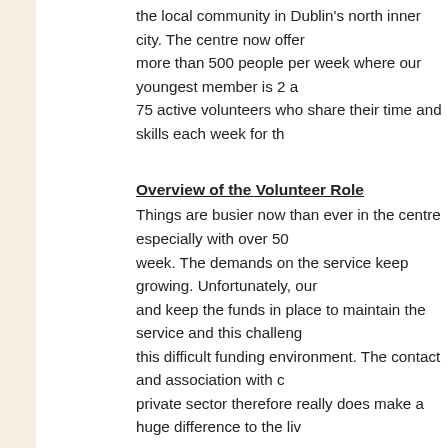the local community in Dublin's north inner city. The centre now offer more than 500 people per week where our youngest member is 2 a 75 active volunteers who share their time and skills each week for th
Overview of the Volunteer Role
Things are busier now than ever in the centre especially with over 50 week. The demands on the service keep growing. Unfortunately, our and keep the funds in place to maintain the service and this challeng this difficult funding environment. The contact and association with c private sector therefore really does make a huge difference to the liv
To reach our full potential and to achieve our goals in the centre we a support from the public and private sector. Over the past few years, v acquiring sponsorship from companies such as The McGrath Group, Diageo, however, we are now in a position where we need to take th new level. We aim to research and target further companies with an and to complete relevant application forms where appropriate. We a the necessary skills, interest, contacts and drive to further develop o centre.
There will be numerous roles on this committee for individuals with d
Committee Tasks